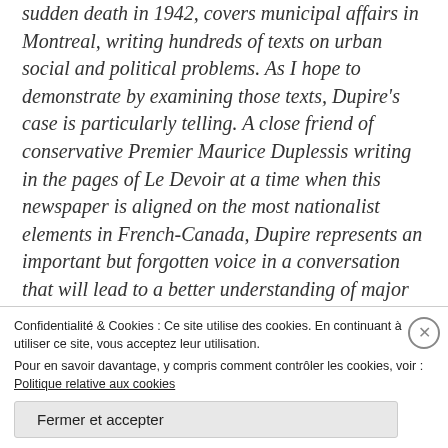sudden death in 1942, covers municipal affairs in Montreal, writing hundreds of texts on urban social and political problems. As I hope to demonstrate by examining those texts, Dupire's case is particularly telling. A close friend of conservative Premier Maurice Duplessis writing in the pages of Le Devoir at a time when this newspaper is aligned on the most nationalist elements in French-Canada, Dupire represents an important but forgotten voice in a conversation that will lead to a better understanding of major urban problems in Montreal during the interwar period. That's certainly why, in its eulogy, rival newspaper La Patrie
Confidentialité & Cookies : Ce site utilise des cookies. En continuant à utiliser ce site, vous acceptez leur utilisation.
Pour en savoir davantage, y compris comment contrôler les cookies, voir : Politique relative aux cookies